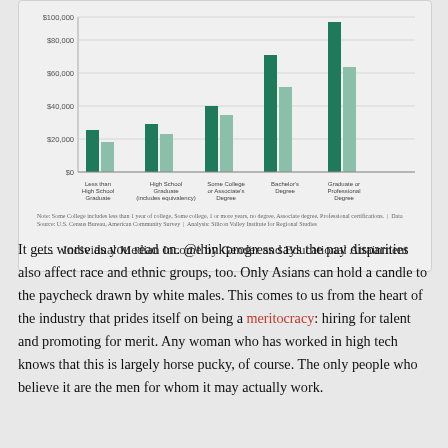[Figure (grouped-bar-chart): Individual Median Income by Gender and Educational Attainment]
— Individual Median Income by Gender and Educational Attainment
It gets worse as you read on. @thinkprogress says the pay disparities also affect race and ethnic groups, too. Only Asians can hold a candle to the paycheck drawn by white males. This comes to us from the heart of the industry that prides itself on being a meritocracy: hiring for talent and promoting for merit. Any woman who has worked in high tech knows that this is largely horse pucky, of course. The only people who believe it are the men for whom it may actually work.